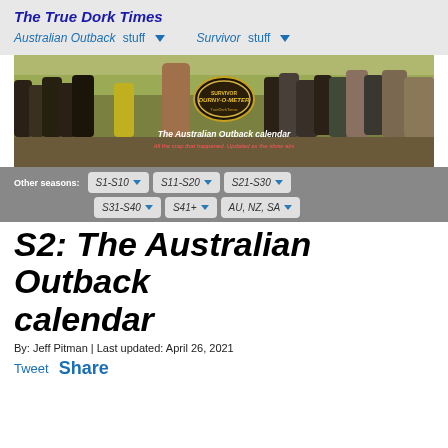The True Dork Times
Australian Outback stuff ▼   Survivor stuff ▼
[Figure (photo): Banner image with group photo of Survivor Australian Outback cast members, with overlaid logo and text 'The Australian Outback calendar - All the crap that happened. Updated as the show airs']
Other seasons: S1-S10 ▼  S11-S20 ▼  S21-S30 ▼  S31-S40 ▼  S41+ ▼  AU, NZ, SA ▼
S2: The Australian Outback calendar
By: Jeff Pitman | Last updated: April 26, 2021
Tweet  Share